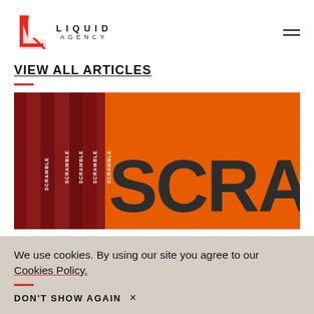Liquid Agency
VIEW ALL ARTICLES
[Figure (photo): Photo of stacked orange and red books with the word SCRAMBLE on their spines, alongside a large orange background with the word SCRAMBLE in bold dark typography.]
We use cookies. By using our site you agree to our Cookies Policy.
DON'T SHOW AGAIN  ×